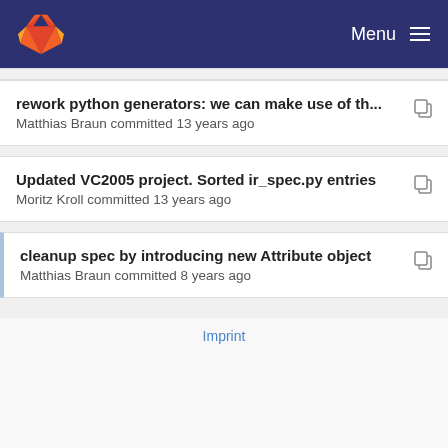Menu
rework python generators: we can make use of th...
Matthias Braun committed 13 years ago
Updated VC2005 project. Sorted ir_spec.py entries
Moritz Kroll committed 13 years ago
cleanup spec by introducing new Attribute object
Matthias Braun committed 8 years ago
Imprint